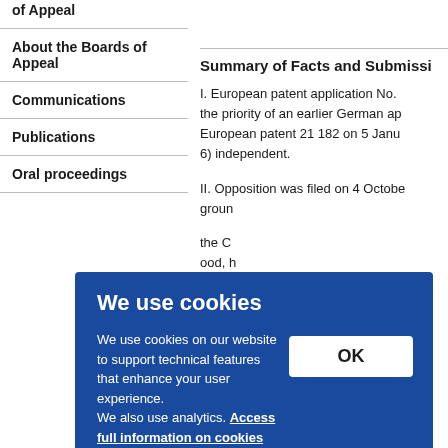of Appeal
About the Boards of Appeal
Communications
Publications
Oral proceedings
Summary of Facts and Submissions
I. European patent application No. the priority of an earlier German application. European patent 21 182 on 5 January 6) independent.
II. Opposition was filed on 4 October ground
the C ood, h ntable
agains of gro
We use cookies
We use cookies on our website to support technical features that enhance your user experience.
We also use analytics. Access full information on cookies that we use and how to manage them